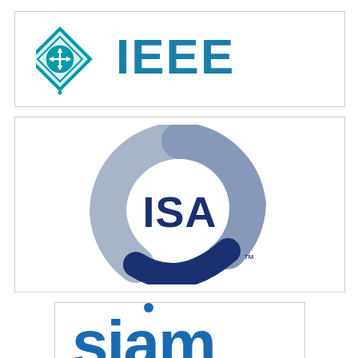[Figure (logo): IEEE logo with diamond icon and bold teal IEEE text]
[Figure (logo): ISA logo with blue/grey sphere globe and ISA text in dark navy, with TM mark]
[Figure (logo): SIAM logo with blue stylized text, partially visible]